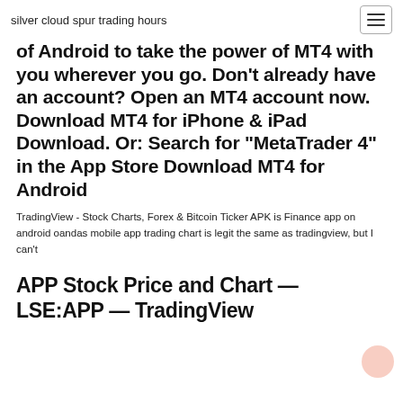silver cloud spur trading hours
of Android to take the power of MT4 with you wherever you go. Don't already have an account? Open an MT4 account now. Download MT4 for iPhone & iPad Download. Or: Search for "MetaTrader 4" in the App Store Download MT4 for Android
TradingView - Stock Charts, Forex & Bitcoin Ticker APK is Finance app on android oandas mobile app trading chart is legit the same as tradingview, but I can't
APP Stock Price and Chart — LSE:APP — TradingView